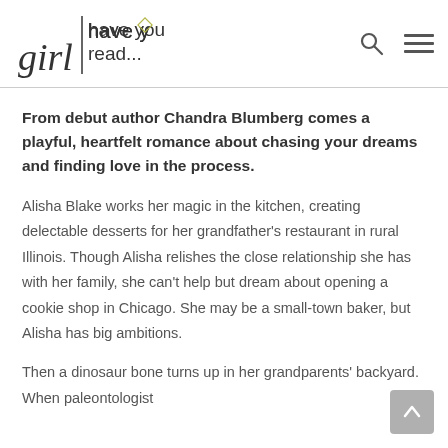girl have you read...
From debut author Chandra Blumberg comes a playful, heartfelt romance about chasing your dreams and finding love in the process.
Alisha Blake works her magic in the kitchen, creating delectable desserts for her grandfather’s restaurant in rural Illinois. Though Alisha relishes the close relationship she has with her family, she can’t help but dream about opening a cookie shop in Chicago. She may be a small-town baker, but Alisha has big ambitions.
Then a dinosaur bone turns up in her grandparents’ backyard. When paleontologist